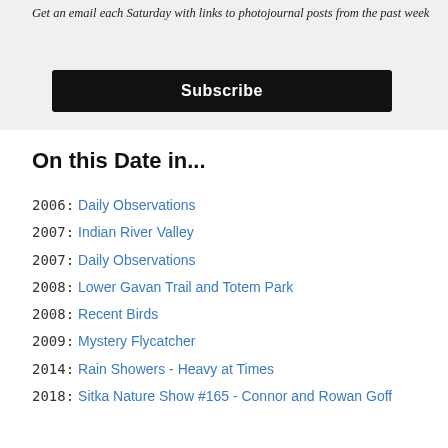[Figure (other): Gray banner area with italic text: Get an email each Saturday with links to photojournal posts from the past week, and a black Subscribe button below]
On this Date in...
2006: Daily Observations
2007: Indian River Valley
2007: Daily Observations
2008: Lower Gavan Trail and Totem Park
2008: Recent Birds
2009: Mystery Flycatcher
2014: Rain Showers - Heavy at Times
2018: Sitka Nature Show #165 - Connor and Rowan Goff